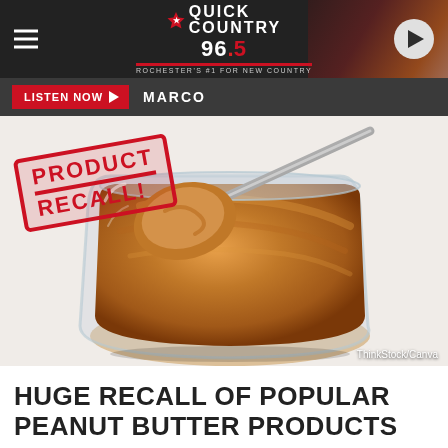Quick Country 96.5
LISTEN NOW ▶  MARCO
[Figure (photo): Open jar of peanut butter with a spoon scooping it, with a red 'PRODUCT RECALL' stamp overlay in the top-left corner. Photo credit: ThinkStock/Canva]
HUGE RECALL OF POPULAR PEANUT BUTTER PRODUCTS